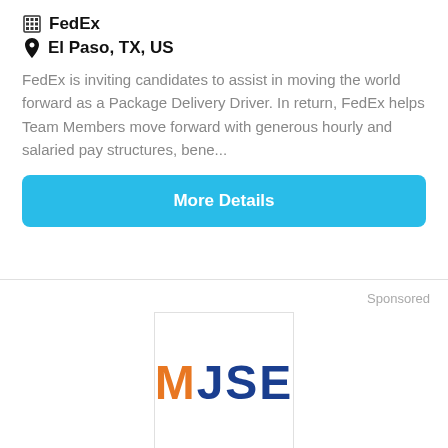FedEx
El Paso, TX, US
FedEx is inviting candidates to assist in moving the world forward as a Package Delivery Driver. In return, FedEx helps Team Members move forward with generous hourly and salaried pay structures, bene...
More Details
Sponsored
[Figure (logo): MJSE logo — M in orange, JSE in dark blue, inside a white box with border]
Amazon Work From Home Program NOW OPEN: $16-$40/Hr (Apply)